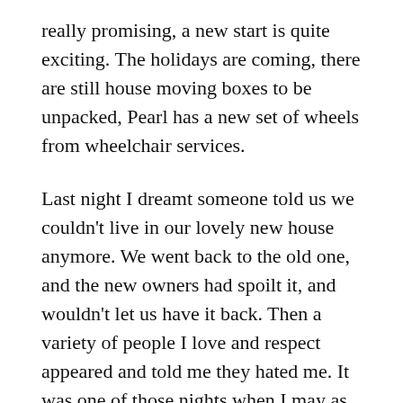really promising, a new start is quite exciting. The holidays are coming, there are still house moving boxes to be unpacked, Pearl has a new set of wheels from wheelchair services.
Last night I dreamt someone told us we couldn't live in our lovely new house anymore. We went back to the old one, and the new owners had spoilt it, and wouldn't let us have it back. Then a variety of people I love and respect appeared and told me they hated me. It was one of those nights when I may as well have stayed awake.
When I am very stressed, I get busy. (At one point I was doing three part time jobs and